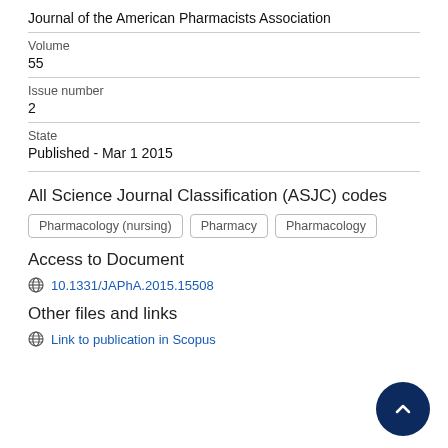Journal of the American Pharmacists Association
Volume
55
Issue number
2
State
Published - Mar 1 2015
All Science Journal Classification (ASJC) codes
Pharmacology (nursing)
Pharmacy
Pharmacology
Access to Document
10.1331/JAPhA.2015.15508
Other files and links
Link to publication in Scopus